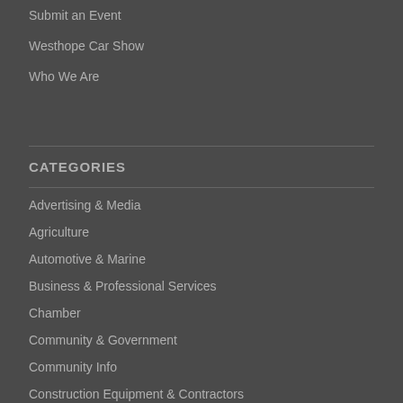Submit an Event
Westhope Car Show
Who We Are
CATEGORIES
Advertising & Media
Agriculture
Automotive & Marine
Business & Professional Services
Chamber
Community & Government
Community Info
Construction Equipment & Contractors